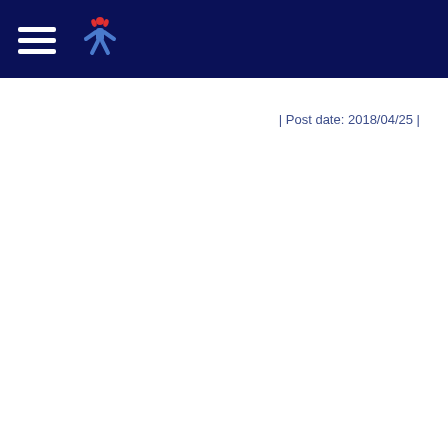Navigation menu and logo
| Post date: 2018/04/25 |